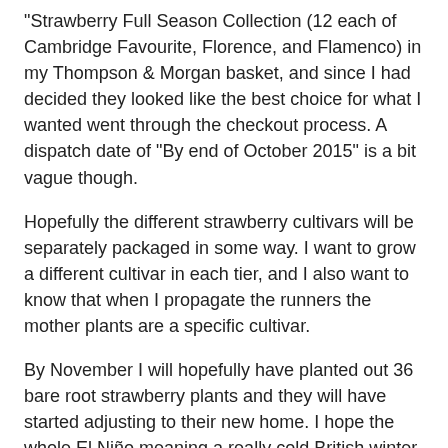"Strawberry Full Season Collection (12 each of Cambridge Favourite, Florence, and Flamenco) in my Thompson & Morgan basket, and since I had decided they looked like the best choice for what I wanted went through the checkout process. A dispatch date of "By end of October 2015" is a bit vague though.
Hopefully the different strawberry cultivars will be separately packaged in some way. I want to grow a different cultivar in each tier, and I also want to know that when I propagate the runners the mother plants are a specific cultivar.
By November I will hopefully have planted out 36 bare root strawberry plants and they will have started adjusting to their new home. I hope the whole El Niño meaning a really cold British winter things will not happen and kill off the plants.